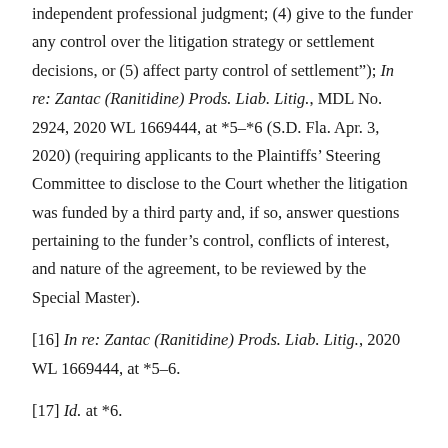independent professional judgment; (4) give to the funder any control over the litigation strategy or settlement decisions, or (5) affect party control of settlement"); In re: Zantac (Ranitidine) Prods. Liab. Litig., MDL No. 2924, 2020 WL 1669444, at *5–*6 (S.D. Fla. Apr. 3, 2020) (requiring applicants to the Plaintiffs' Steering Committee to disclose to the Court whether the litigation was funded by a third party and, if so, answer questions pertaining to the funder's control, conflicts of interest, and nature of the agreement, to be reviewed by the Special Master).
[16] In re: Zantac (Ranitidine) Prods. Liab. Litig., 2020 WL 1669444, at *5–6.
[17] Id. at *6.